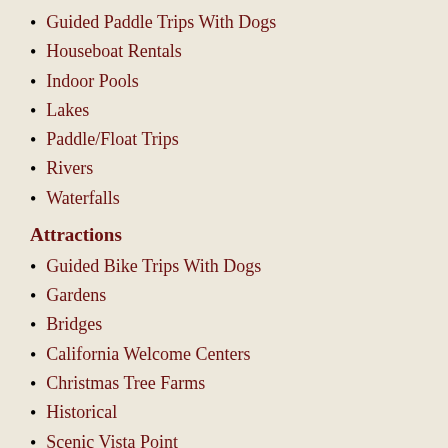Guided Paddle Trips With Dogs
Houseboat Rentals
Indoor Pools
Lakes
Paddle/Float Trips
Rivers
Waterfalls
Attractions
Guided Bike Trips With Dogs
Gardens
Bridges
California Welcome Centers
Christmas Tree Farms
Historical
Scenic Vista Point
Tours
Trains
Visitor Centers